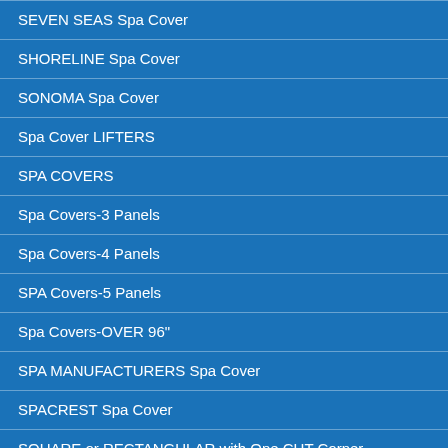SEVEN SEAS Spa Cover
SHORELINE Spa Cover
SONOMA Spa Cover
Spa Cover LIFTERS
SPA COVERS
Spa Covers-3 Panels
Spa Covers-4 Panels
SPA Covers-5 Panels
Spa Covers-OVER 96"
SPA MANUFACTURERS Spa Cover
SPACREST Spa Cover
SQUARE or RECTANGULAR with One CUT Corner